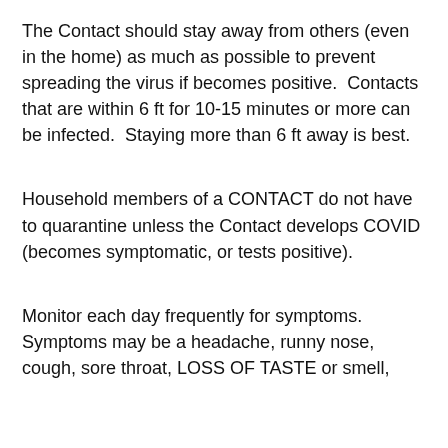The Contact should stay away from others (even in the home) as much as possible to prevent spreading the virus if becomes positive.  Contacts that are within 6 ft for 10-15 minutes or more can be infected.  Staying more than 6 ft away is best.
Household members of a CONTACT do not have to quarantine unless the Contact develops COVID (becomes symptomatic, or tests positive).
Monitor each day frequently for symptoms. Symptoms may be a headache, runny nose, cough, sore throat, LOSS OF TASTE or smell,